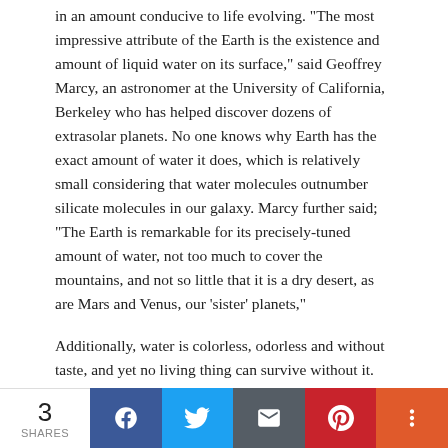in an amount conducive to life evolving.  "The most impressive attribute of the Earth is the existence and amount of liquid water on its surface," said Geoffrey Marcy, an astronomer at the University of California, Berkeley who has helped discover dozens of extrasolar planets. No one knows why Earth has the exact amount of water it does, which is relatively small considering that water molecules outnumber silicate molecules in our galaxy. Marcy further said; "The Earth is remarkable for its precisely-tuned amount of water, not too much to cover the mountains, and not so little that it is a dry desert, as are Mars and Venus, our 'sister' planets,"
Additionally, water is colorless, odorless and without taste, and yet no living thing can survive without it.  Ninety-seven percent of the Earth's water is in the oceans. However the system is designed to remove salt from the water in the form
3 SHARES | Facebook | Twitter | Email | Pinterest | More